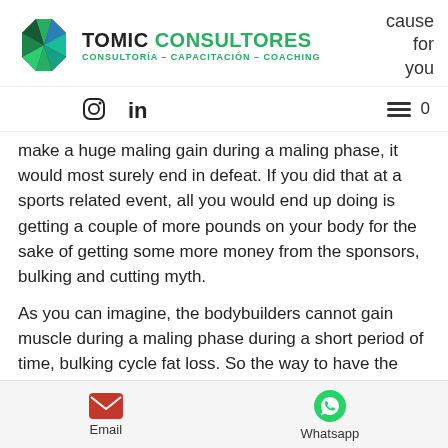[Figure (logo): Tomic Consultores logo with octagon icon and text 'TOMIC CONSULTORES - CONSULTORÍA – CAPACITACIÓN – COACHING']
because for you
[Figure (infographic): Navigation bar with Instagram icon, LinkedIn icon, hamburger menu, and number 0]
make a huge maling gain during a maling phase, it would most surely end in defeat. If you did that at a sports related event, all you would end up doing is getting a couple of more pounds on your body for the sake of getting some more money from the sponsors, bulking and cutting myth.
As you can imagine, the bodybuilders cannot gain muscle during a maling phase during a short period of time, bulking cycle fat loss. So the way to have the most gains and maximum muscle mass during a maling phase is by increasing calories quickly
Email    Whatsapp